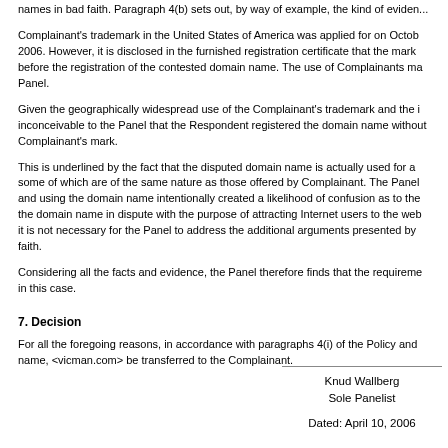names in bad faith. Paragraph 4(b) sets out, by way of example, the kind of eviden...
Complainant's trademark in the United States of America was applied for on October 2006. However, it is disclosed in the furnished registration certificate that the mark before the registration of the contested domain name. The use of Complainants ma Panel.
Given the geographically widespread use of the Complainant's trademark and the i inconceivable to the Panel that the Respondent registered the domain name withou Complainant's mark.
This is underlined by the fact that the disputed domain name is actually used for a some of which are of the same nature as those offered by Complainant. The Panel and using the domain name intentionally created a likelihood of confusion as to the the domain name in dispute with the purpose of attracting Internet users to the web it is not necessary for the Panel to address the additional arguments presented by faith.
Considering all the facts and evidence, the Panel therefore finds that the requireme in this case.
7. Decision
For all the foregoing reasons, in accordance with paragraphs 4(i) of the Policy and name, <vicman.com> be transferred to the Complainant.
Knud Wallberg
Sole Panelist

Dated: April 10, 2006